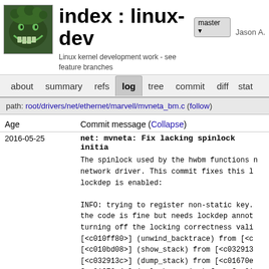index : linux-dev
Linux kernel development work - see feature branches
Jason A.
about  summary  refs  log  tree  commit  diff  stat
path: root/drivers/net/ethernet/marvell/mvneta_bm.c (follow)
| Age | Commit message (Collapse) |
| --- | --- |
| 2016-05-25 | net: mvneta: Fix lacking spinlock initia... |
The spinlock used by the hwbm functions network driver. This commit fixes this l lockdep is enabled:
INFO: trying to register non-static key. the code is fine but needs lockdep annot turning off the locking correctness vali [<c010ff80>] (unwind_backtrace) from [<c [<c010bd08>] (show_stack) from [<c032913 [<c032913c>] (dump_stack) from [<c01670e [<c01670e4>] (__lock_acquire) from [<c01 [<c0167dec>] (lock_acquire) from [<c06f6 [<c06f6658>] (...)